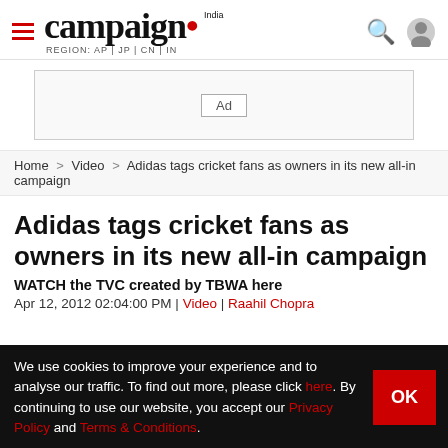campaign India — REGION: AP | JP | CN | IN
[Figure (other): Advertisement banner placeholder with 'Ad' label]
Home > Video > Adidas tags cricket fans as owners in its new all-in campaign
Adidas tags cricket fans as owners in its new all-in campaign
WATCH the TVC created by TBWA here
Apr 12, 2012 02:04:00 PM | Video | Raahil Chopra
We use cookies to improve your experience and to analyse our traffic. To find out more, please click here. By continuing to use our website, you accept our Privacy Policy and Terms & Conditions.